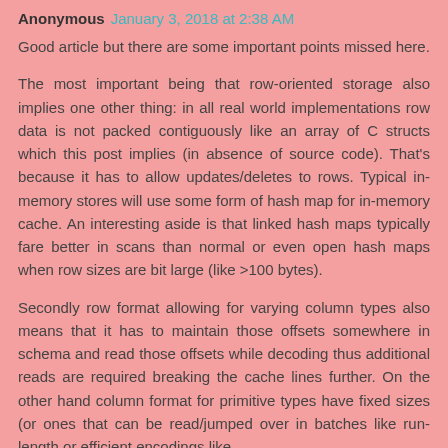Anonymous  January 3, 2018 at 2:38 AM
Good article but there are some important points missed here.
The most important being that row-oriented storage also implies one other thing: in all real world implementations row data is not packed contiguously like an array of C structs which this post implies (in absence of source code). That's because it has to allow updates/deletes to rows. Typical in-memory stores will use some form of hash map for in-memory cache. An interesting aside is that linked hash maps typically fare better in scans than normal or even open hash maps when row sizes are bit large (like >100 bytes).
Secondly row format allowing for varying column types also means that it has to maintain those offsets somewhere in schema and read those offsets while decoding thus additional reads are required breaking the cache lines further. On the other hand column format for primitive types have fixed sizes (or ones that can be read/jumped over in batches like run-length or efficient encodings like